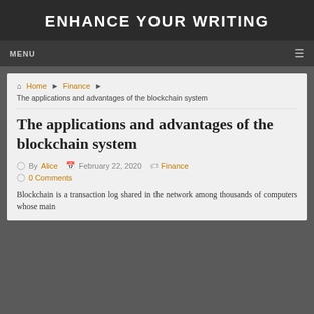ENHANCE YOUR WRITING
MENU
Home ▶ Finance ▶ The applications and advantages of the blockchain system
The applications and advantages of the blockchain system
By Alice   February 22, 2020   Finance   0 Comments
Blockchain is a transaction log shared in the network among thousands of computers whose main